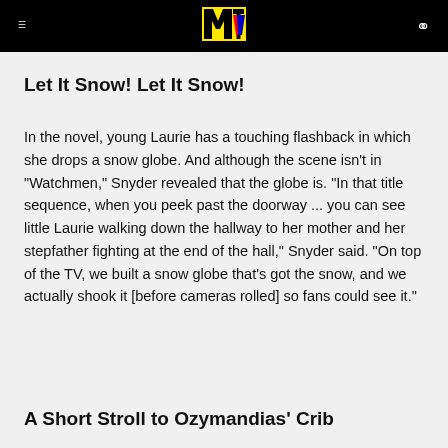MTV (logo)
Let It Snow! Let It Snow!
In the novel, young Laurie has a touching flashback in which she drops a snow globe. And although the scene isn't in "Watchmen," Snyder revealed that the globe is. "In that title sequence, when you peek past the doorway ... you can see little Laurie walking down the hallway to her mother and her stepfather fighting at the end of the hall," Snyder said. "On top of the TV, we built a snow globe that's got the snow, and we actually shook it [before cameras rolled] so fans could see it."
A Short Stroll to Ozymandias' Crib